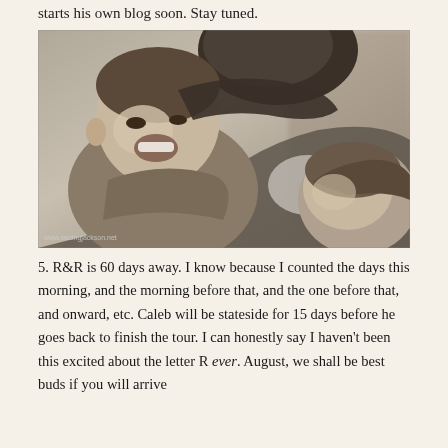starts his own blog soon. Stay tuned.
[Figure (photo): Black and white photograph of a father and two young children playing and laughing together. Watermark reads www.raisingjackson.net]
5. R&R is 60 days away. I know because I counted the days this morning, and the morning before that, and the one before that, and onward, etc. Caleb will be stateside for 15 days before he goes back to finish the tour. I can honestly say I haven't been this excited about the letter R ever. August, we shall be best buds if you will arrive